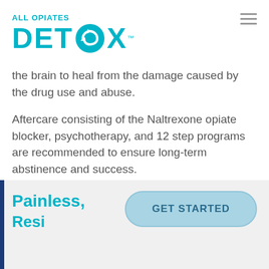[Figure (logo): All Opiates Detox logo with teal text and swirl icon]
the brain to heal from the damage caused by the drug use and abuse.
Aftercare consisting of the Naltrexone opiate blocker, psychotherapy, and 12 step programs are recommended to ensure long-term abstinence and success.
Painless,
GET STARTED